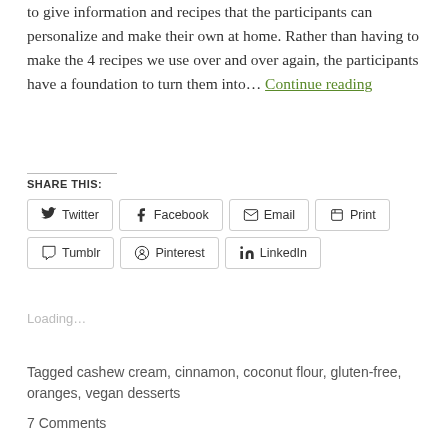to give information and recipes that the participants can personalize and make their own at home. Rather than having to make the 4 recipes we use over and over again, the participants have a foundation to turn them into… Continue reading
Share this:
Twitter  Facebook  Email  Print  Tumblr  Pinterest  LinkedIn
Loading…
Tagged cashew cream, cinnamon, coconut flour, gluten-free, oranges, vegan desserts
7 Comments